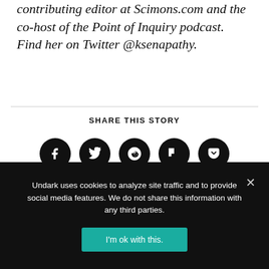contributing editor at Scimons.com and the co-host of the Point of Inquiry podcast. Find her on Twitter @ksenapathy.
SHARE THIS STORY
[Figure (infographic): Five circular black social media share buttons: Facebook (f), Twitter (bird), Reddit (alien), Flipboard (f flag), Pocket (pocket icon)]
Undark uses cookies to analyze site traffic and to provide social media features. We do not share this information with any third parties.
I'm ok with this.